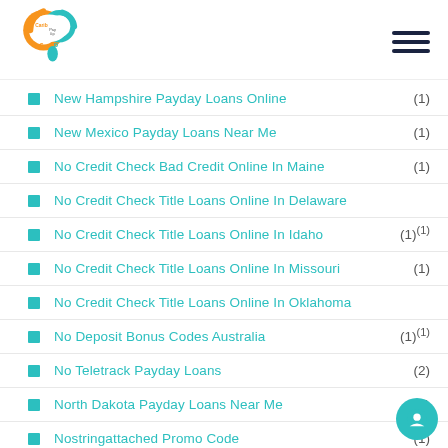Carib Pay App
New Hampshire Payday Loans Online (1)
New Mexico Payday Loans Near Me (1)
No Credit Check Bad Credit Online In Maine (1)
No Credit Check Title Loans Online In Delaware
No Credit Check Title Loans Online In Idaho (1)(1)
No Credit Check Title Loans Online In Missouri (1)
No Credit Check Title Loans Online In Oklahoma
No Deposit Bonus Codes Australia (1)(1)
No Teletrack Payday Loans (2)
North Dakota Payday Loans Near Me (1)
Nostringattached Promo Code (1)